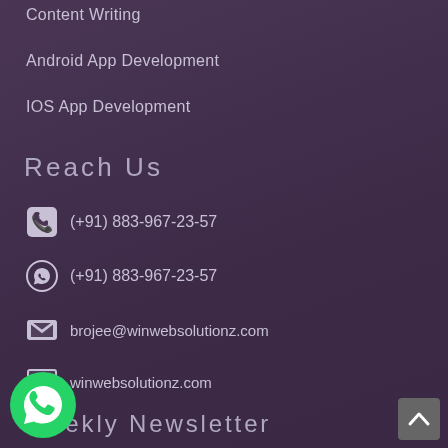Content Writing
Android App Development
IOS App Development
Reach Us
(+91) 883-967-23-57
(+91) 883-967-23-57
brojee@winwebsolutionz.com
winwebsolutionz.com
Weekly Newsletter
pe to our weekly newsletter and stay updated with st web trend.